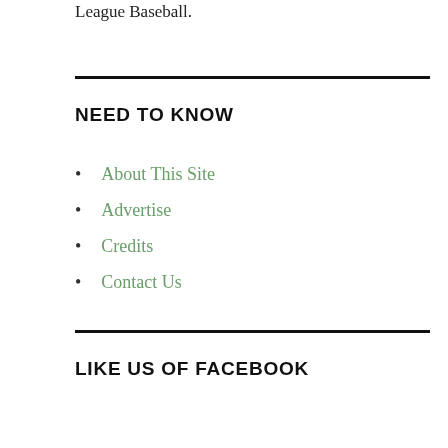League Baseball.
NEED TO KNOW
About This Site
Advertise
Credits
Contact Us
LIKE US OF FACEBOOK